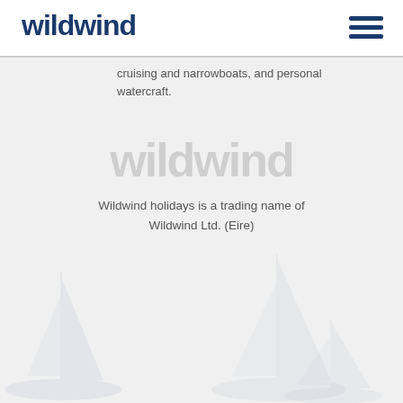[Figure (logo): Wildwind logo in dark navy bold lowercase text in header]
cruising and narrowboats, and personal watercraft.
[Figure (logo): Wildwind watermark logo in light grey centered on page]
Wildwind holidays is a trading name of Wildwind Ltd. (Eire)
[Figure (illustration): Watermark sailboat illustrations in light grey at bottom of page]